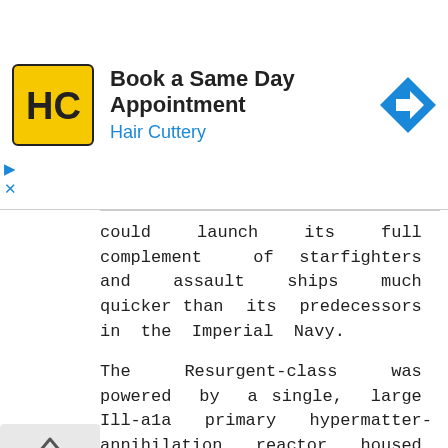[Figure (screenshot): Advertisement banner for Hair Cuttery salon: logo with HC initials on yellow background, text 'Book a Same Day Appointment' and 'Hair Cuttery' in blue, navigation arrow icon on right, with play and close controls on left side.]
could launch its full complement of starfighters and assault ships much quicker than its predecessors in the Imperial Navy.

The Resurgent-class was powered by a single, large Ill-a1a primary hypermatter-annihilation reactor housed within a dome-shaped reactor containment vessel on the ships underbelly. The massive reactor was supported by a reinforced reactor superstructure and hull chassis, while the reactor engineering control deck oversaw reactor-based activities. The large atmospheric processing complex and reactant ducts were located behind the reactor containment vessel.